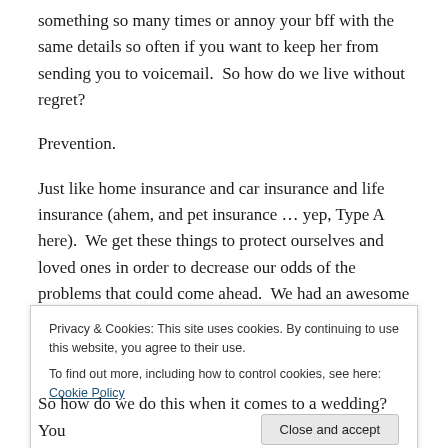something so many times or annoy your bff with the same details so often if you want to keep her from sending you to voicemail.  So how do we live without regret?
Prevention.
Just like home insurance and car insurance and life insurance (ahem, and pet insurance … yep, Type A here).  We get these things to protect ourselves and loved ones in order to decrease our odds of the problems that could come ahead.  We had an awesome seminar from
Privacy & Cookies: This site uses cookies. By continuing to use this website, you agree to their use.
To find out more, including how to control cookies, see here: Cookie Policy
So how do we do this when it comes to a wedding?  You